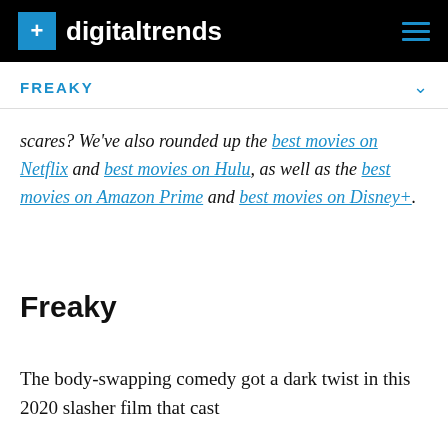digitaltrends
FREAKY
scares? We've also rounded up the best movies on Netflix and best movies on Hulu, as well as the best movies on Amazon Prime and best movies on Disney+.
Freaky
The body-swapping comedy got a dark twist in this 2020 slasher film that cast